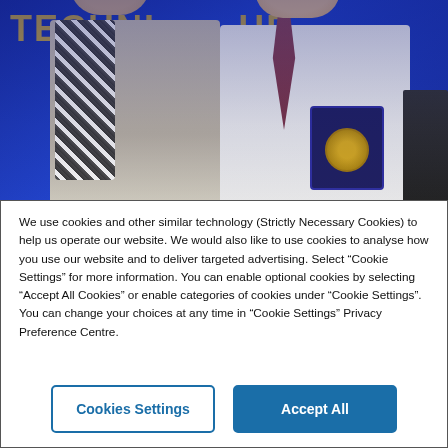[Figure (photo): Photo of two people standing in front of a blue background with gold text reading 'TECHNI...' and 'HE...'. The person on the left wears a grey top and patterned scarf. The person on the right wears a white shirt and dark red tie, and is holding an open navy blue box containing a gold medal/coin.]
We use cookies and other similar technology (Strictly Necessary Cookies) to help us operate our website. We would also like to use cookies to analyse how you use our website and to deliver targeted advertising. Select “Cookie Settings” for more information. You can enable optional cookies by selecting “Accept All Cookies” or enable categories of cookies under “Cookie Settings”. You can change your choices at any time in “Cookie Settings” Privacy Preference Centre.